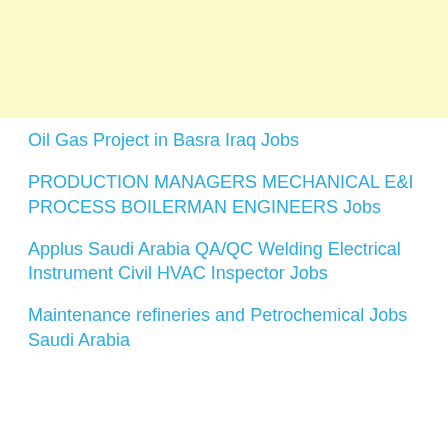[Figure (other): Yellow/cream colored banner area at the top of the page]
Oil Gas Project in Basra Iraq Jobs
PRODUCTION MANAGERS MECHANICAL E&I PROCESS BOILERMAN ENGINEERS Jobs
Applus Saudi Arabia QA/QC Welding Electrical Instrument Civil HVAC Inspector Jobs
Maintenance refineries and Petrochemical Jobs Saudi Arabia